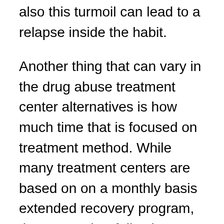also this turmoil can lead to a relapse inside the habit.
Another thing that can vary in the drug abuse treatment center alternatives is how much time that is focused on treatment method. While many treatment centers are based on on a monthly basis extended recovery program, there are other folks that provide prolonged courses for people with a challenging or prolonged habit. If you know that you are going to will need longer than four weeks to conquer your difficulties and grow reintroduced to community, there are will be a treatment center that